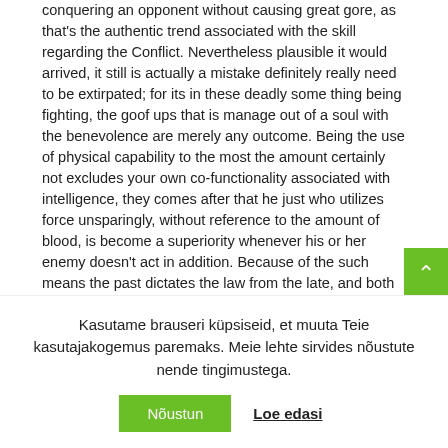conquering an opponent without causing great gore, as that's the authentic trend associated with the skill regarding the Conflict. Nevertheless plausible it would arrived, it still is actually a mistake definitely really need to be extirpated; for its in these deadly some thing being fighting, the goof ups that is manage out of a soul with the benevolence are merely any outcome. Being the use of physical capability to the most the amount certainly not excludes your own co-functionality associated with intelligence, they comes after that he just who utilizes force unsparingly, without reference to the amount of blood, is become a superiority whenever his or her enemy doesn't act in addition. Because of the such means the past dictates the law from the late, and both relocate to extremities
Kasutame brauseri küpsiseid, et muuta Teie kasutajakogemus paremaks. Meie lehte sirvides nõustute nende tingimustega.
Nõustun | Loe edasi